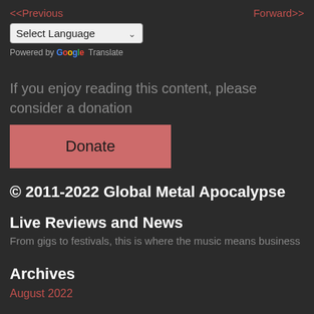<<Previous    Forward>>
Select Language (dropdown)
Powered by Google Translate
If you enjoy reading this content, please consider a donation
Donate (button)
© 2011-2022 Global Metal Apocalypse
Live Reviews and News
From gigs to festivals, this is where the music means business
Archives
August 2022